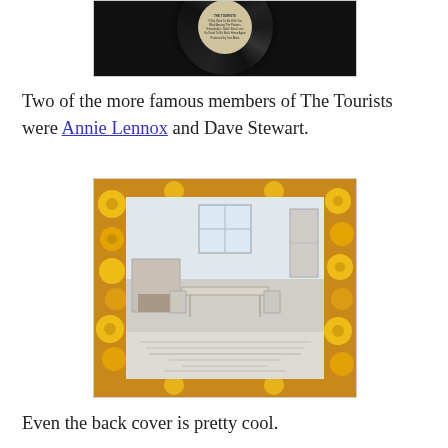[Figure (photo): Close-up photo of a vinyl record showing the center label. The label is circular and beige/cream colored with small text listing song titles and credits for The Tourists.]
Two of the more famous members of The Tourists were Annie Lennox and Dave Stewart.
[Figure (photo): Photo of the back cover of The Tourists album. Shows an all-white room scene with white furniture (table, chairs, fireplace, cabinet) against a floral orange and yellow wallpaper/fabric background. The lower portion of the album cover has small printed text with track listings and credits.]
Even the back cover is pretty cool.